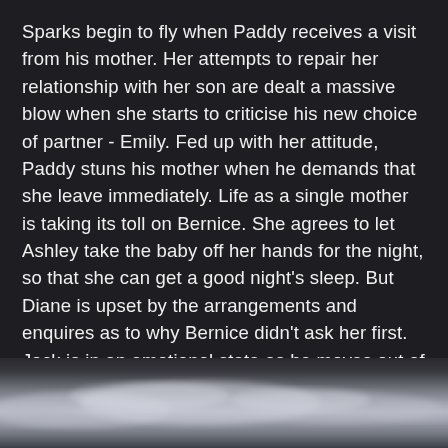Sparks begin to fly when Paddy receives a visit from his mother. Her attempts to repair her relationship with her son are dealt a massive blow when she starts to criticise his new choice of partner - Emily. Fed up with her attitude, Paddy stuns his mother when he demands that she leave immediately. Life as a single mother is taking its toll on Bernice. She agrees to let Ashley take the baby off her hands for the night, so that she can get a good night's sleep. But Diane is upset by the arrangements and enquires as to why Bernice didn't ask her first. Jack is in an emotional state as he moves out of Emmerdale Farm.
[Figure (photo): A dark moody sky with clouds, low on the horizon, photographed at dusk or dawn with muted grey and pale tones.]